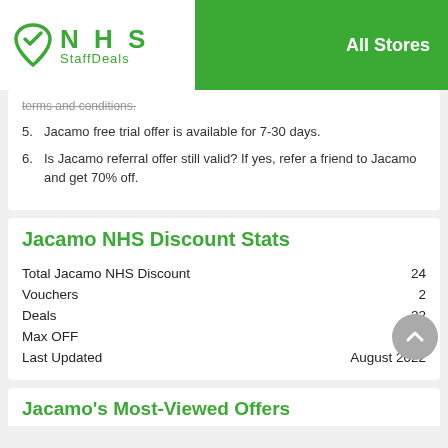NHS StaffDeals | All Stores
terms and conditions.
5. Jacamo free trial offer is available for 7-30 days.
6. Is Jacamo referral offer still valid? If yes, refer a friend to Jacamo and get 70% off.
Jacamo NHS Discount Stats
|  |  |
| --- | --- |
| Total Jacamo NHS Discount | 24 |
| Vouchers | 2 |
| Deals | 22 |
| Max OFF | 70% |
| Last Updated | August 2022 |
Jacamo's Most-Viewed Offers